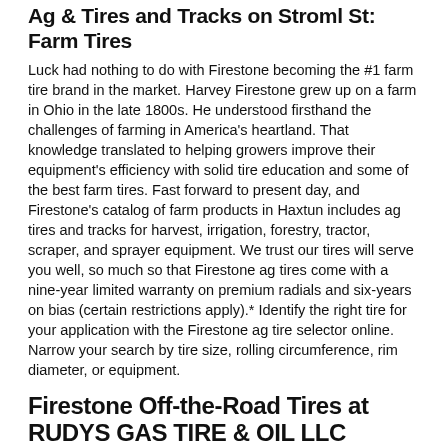Ag & Tires and Tracks on Stroml St: Farm Tires
Luck had nothing to do with Firestone becoming the #1 farm tire brand in the market. Harvey Firestone grew up on a farm in Ohio in the late 1800s. He understood firsthand the challenges of farming in America's heartland. That knowledge translated to helping growers improve their equipment's efficiency with solid tire education and some of the best farm tires. Fast forward to present day, and Firestone's catalog of farm products in Haxtun includes ag tires and tracks for harvest, irrigation, forestry, tractor, scraper, and sprayer equipment. We trust our tires will serve you well, so much so that Firestone ag tires come with a nine-year limited warranty on premium radials and six-years on bias (certain restrictions apply).* Identify the right tire for your application with the Firestone ag tire selector online. Narrow your search by tire size, rolling circumference, rim diameter, or equipment.
Firestone Off-the-Road Tires at RUDYS GAS TIRE & OIL LLC
Where there's work to be accomplished, there's Firestone. Even where there's no cement in sight. Our off-the-road tires help minimize cost and maximize uptime for bridge, port, waste,